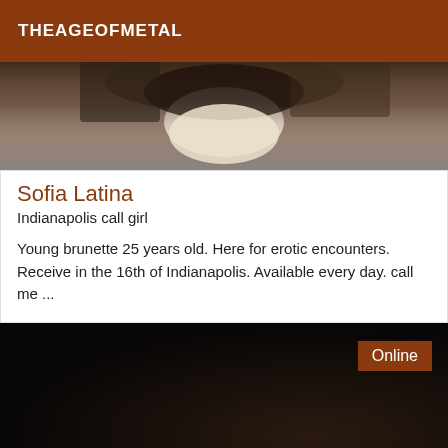THEAGEOFMETAL
[Figure (photo): Cropped photo showing partial view of a person, top portion of body, dark hair visible]
Sofia Latina
Indianapolis call girl
Young brunette 25 years old. Here for erotic encounters. Receive in the 16th of Indianapolis. Available every day. call me ...
[Figure (photo): Dark photo, mostly black with faint figure silhouette, Online badge in top right corner]